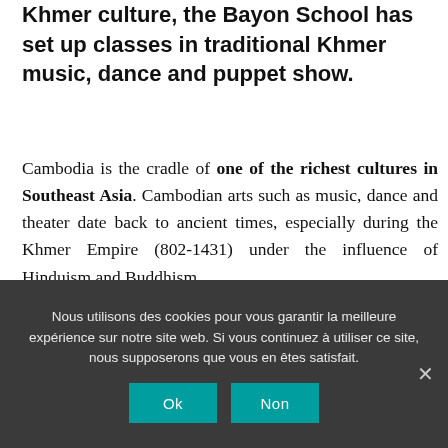Khmer culture, the Bayon School has set up classes in traditional Khmer music, dance and puppet show.
Cambodia is the cradle of one of the richest cultures in Southeast Asia. Cambodian arts such as music, dance and theater date back to ancient times, especially during the Khmer Empire (802-1431) under the influence of Hinduism and Buddhism.
However, during the Khmer Rouge
Nous utilisons des cookies pour vous garantir la meilleure expérience sur notre site web. Si vous continuez à utiliser ce site, nous supposerons que vous en êtes satisfait.
Ok
Non